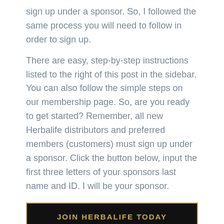sign up under a sponsor. So, I followed the same process you will need to follow in order to sign up.
There are easy, step-by-step instructions listed to the right of this post in the sidebar. You can also follow the simple steps on our membership page. So, are you ready to get started? Remember, all new Herbalife distributors and preferred members (customers) must sign up under a sponsor. Click the button below, input the first three letters of your sponsors last name and ID. I will be your sponsor.
[Figure (other): Black button with gold border reading JOIN HERBALIFE TODAY in gold uppercase letters]
UK Herbalife Distributors Can